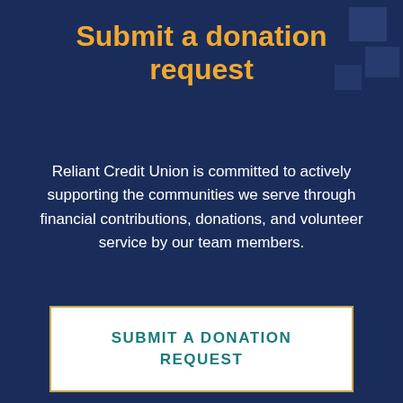Submit a donation request
Reliant Credit Union is committed to actively supporting the communities we serve through financial contributions, donations, and volunteer service by our team members.
SUBMIT A DONATION REQUEST